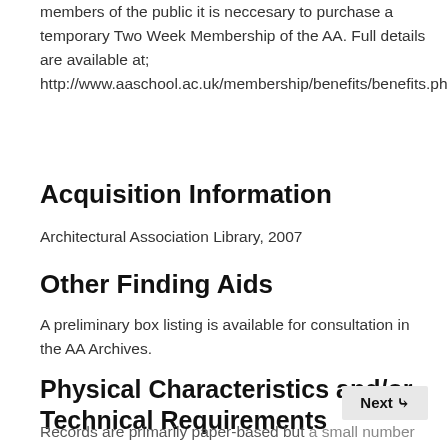members of the public it is neccesary to purchase a temporary Two Week Membership of the AA. Full details are available at; http://www.aaschool.ac.uk/membership/benefits/benefits.php
Acquisition Information
Architectural Association Library, 2007
Other Finding Aids
A preliminary box listing is available for consultation in the AA Archives.
Physical Characteristics and/or Technical Requirements
Records are primarily paper-based but a small number